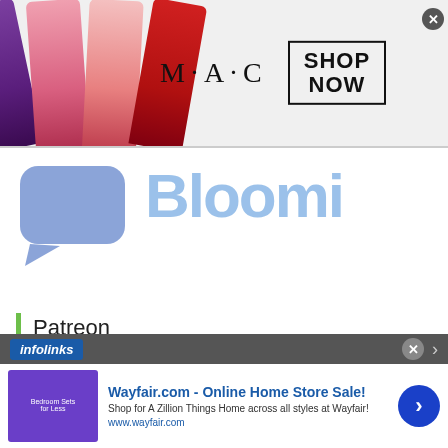[Figure (screenshot): MAC Cosmetics advertisement banner with lipsticks on left, MAC logo in center, SHOP NOW box on right, and infolinks label]
[Figure (screenshot): Discord icon (blue chat bubble) on left, large blue partially visible 'Bloomer' text on right]
Patreon
Support Watashi Wa Sugoi Desu on Patreon!
[Figure (screenshot): Infolinks bottom ad bar with Wayfair.com advertisement: headline 'Wayfair.com - Online Home Store Sale!', description 'Shop for A Zillion Things Home across all styles at Wayfair!', URL 'www.wayfair.com', bedroom furniture image on left, blue arrow button on right]